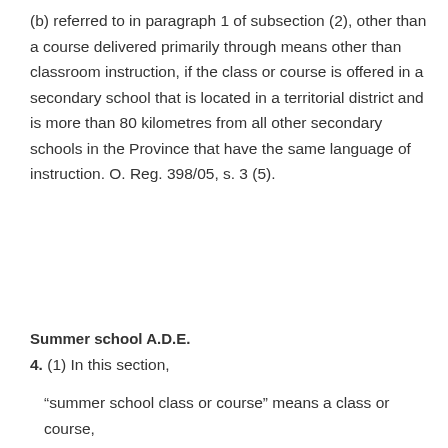(b) referred to in paragraph 1 of subsection (2), other than a course delivered primarily through means other than classroom instruction, if the class or course is offered in a secondary school that is located in a territorial district and is more than 80 kilometres from all other secondary schools in the Province that have the same language of instruction. O. Reg. 398/05, s. 3 (5).
Summer school A.D.E.
4. (1) In this section,
“summer school class or course” means a class or course,